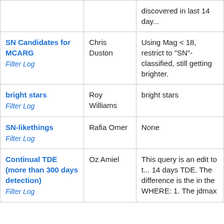| Filter Name | Owner | Description |
| --- | --- | --- |
| [partial row visible] discovered in last 14 day... |  |  |
| SN Candidates for MCARG
Filter Log | Chris Duston | Using Mag < 18, restrict to "SN"-classified, still getting brighter. |
| bright stars
Filter Log | Roy Williams | bright stars |
| SN-likethings
Filter Log | Rafia Omer | None |
| Continual TDE (more than 300 days detection)
Filter Log | Oz Amiel | This query is an edit to t... 14 days TDE. The difference is the in the WHERE: 1. The jdmax... |